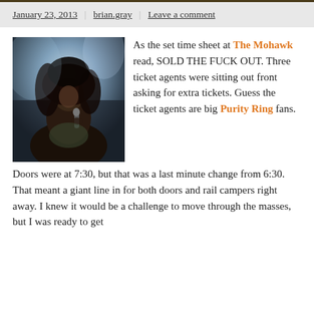January 23, 2013 | brian.gray | Leave a comment
[Figure (photo): Dark photo of a person with long curly hair holding a microphone, performing on stage with blue-tinted background lighting.]
As the set time sheet at The Mohawk read, SOLD THE FUCK OUT. Three ticket agents were sitting out front asking for extra tickets. Guess the ticket agents are big Purity Ring fans.
Doors were at 7:30, but that was a last minute change from 6:30. That meant a giant line in for both doors and rail campers right away. I knew it would be a challenge to move through the masses, but I was ready to get